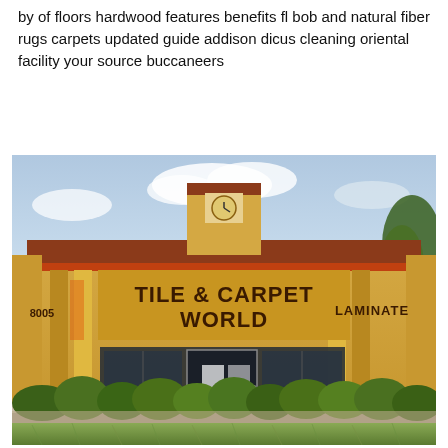by of floors hardwood features benefits fl bob and natural fiber rugs carpets updated guide addison dicus cleaning oriental facility your source buccaneers
[Figure (photo): Exterior photo of a commercial retail building with a yellow stucco facade and red/terracotta roof trim. A large sign reads 'TILE & CARPET WORLD' in the center. A smaller sign on the right side reads 'LAMINATE'. The building has an address number visible on the left side (8005 or similar). There are glass storefront windows, decorative columns, and landscaping with shrubs and grass in the foreground. The clock tower element is visible at the top center of the building.]